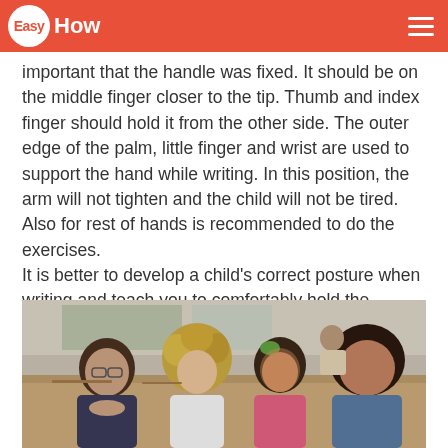EasyHow
important that the handle was fixed. It should be on the middle finger closer to the tip. Thumb and index finger should hold it from the other side. The outer edge of the palm, little finger and wrist are used to support the hand while writing. In this position, the arm will not tighten and the child will not be tired. Also for rest of hands is recommended to do the exercises. It is better to develop a child's correct posture when writing and teach you to comfortably hold the handle. Entrenched the wrong skills – dangerous enemies of beautiful handwriting.
[Figure (photo): Children sitting at desks in a classroom writing, viewed from above and slightly to the side. Multiple children visible including a girl with a green hair accessory.]